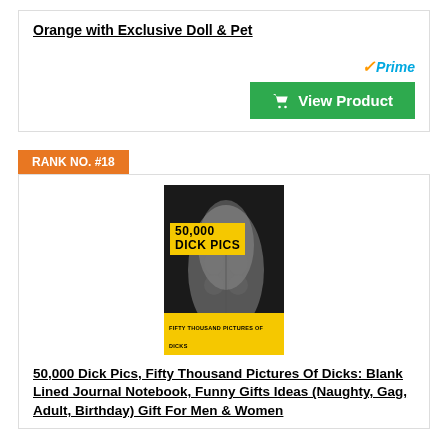Orange with Exclusive Doll & Pet
[Figure (screenshot): Amazon Prime logo with checkmark and 'View Product' green button with cart icon]
RANK NO. #18
[Figure (photo): Book cover: '50,000 Dick Pics, Fifty Thousand Pictures Of Dicks' on dark background with male torso, yellow title overlay and subtitle bar]
50,000 Dick Pics, Fifty Thousand Pictures Of Dicks: Blank Lined Journal Notebook, Funny Gifts Ideas (Naughty, Gag, Adult, Birthday) Gift For Men & Women